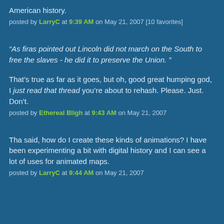American history.
posted by LarryC at 9:39 AM on May 21, 2007 [10 favorites]
“As firas pointed out Lincoln did not march on the South to free the slaves - he did it to preserve the Union. ”
That’s true as far as it goes, but oh, good great humping god, I just read that thread you’re about to rehash. Please. Just. Don’t.
posted by Ethereal Bligh at 9:43 AM on May 21, 2007
Tha said, how do I create these kinds of animations? I have been experimenting a bit with digital history and I can see a lot of uses for animated maps.
posted by LarryC at 9:44 AM on May 21, 2007